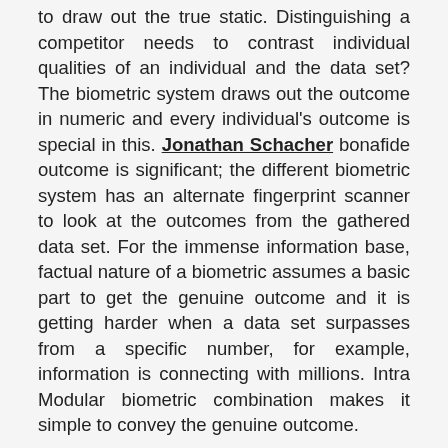to draw out the true static. Distinguishing a competitor needs to contrast individual qualities of an individual and the data set? The biometric system draws out the outcome in numeric and every individual's outcome is special in this. Jonathan Schacher bonafide outcome is significant; the different biometric system has an alternate fingerprint scanner to look at the outcomes from the gathered data set. For the immense information base, factual nature of a biometric assumes a basic part to get the genuine outcome and it is getting harder when a data set surpasses from a specific number, for example, information is connecting with millions. Intra Modular biometric combination makes it simple to convey the genuine outcome.
3. Biometric matching calculation
Biometric matching calculations empower the techniques to look at the outcome tests. A biometric search system applies various